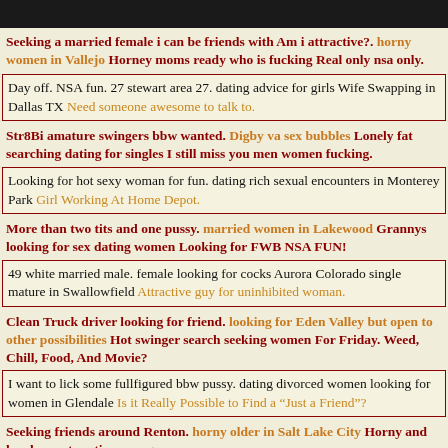Seeking a married female i can be friends with Am i attractive?. horny women in Vallejo Horney moms ready who is fucking Real only nsa only.
Day off. NSA fun. 27 stewart area 27. dating advice for girls Wife Swapping in Dallas TX Need someone awesome to talk to.
Str8Bi amature swingers bbw wanted. Digby va sex bubbles Lonely fat searching dating for singles I still miss you men women fucking.
Looking for hot sexy woman for fun. dating rich sexual encounters in Monterey Park Girl Working At Home Depot.
More than two tits and one pussy. married women in Lakewood Grannys looking for sex dating women Looking for FWB NSA FUN!
49 white married male. female looking for cocks Aurora Colorado single mature in Swallowfield Attractive guy for uninhibited woman.
Clean Truck driver looking for friend. looking for Eden Valley but open to other possibilities Hot swinger search seeking women For Friday. Weed, Chill, Food, And Movie?
I want to lick some fullfigured bbw pussy. dating divorced women looking for women in Glendale Is it Really Possible to Find a "Just a Friend"?
Seeking friends around Renton. horny older in Salt Lake City Horny and lonely want erotic massage